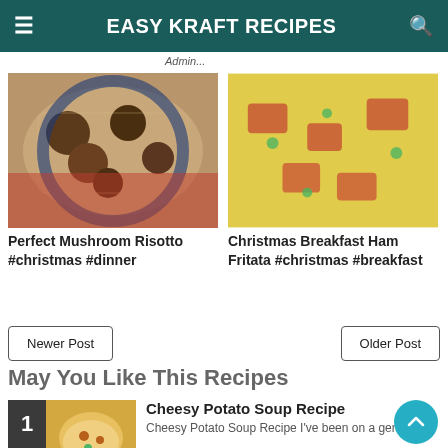EASY KRAFT RECIPES
[Figure (photo): Mushroom risotto in a blue bowl on a red surface]
Perfect Mushroom Risotto #christmas #dinner
[Figure (photo): Christmas Breakfast Ham Fritata close-up with vegetables]
Christmas Breakfast Ham Fritata #christmas #breakfast
Newer Post
Older Post
May You Like This Recipes
Cheesy Potato Soup Recipe
Cheesy Potato Soup Recipe I've been on a genuine